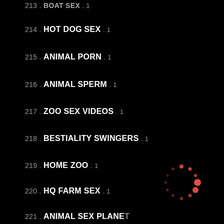213 . BOAT SEX . 1
214 . HOT DOG SEX . 1
215 . ANIMAL PORN . 1
216 . ANIMAL SPERM . 1
217 . ZOO SEX VIDEOS . 1
218 . BESTIALITY SWINGERS . 1
219 . HOME ZOO . 1
220 . HQ FARM SEX . 1
221 . ANIMAL SEX PLANET
[Figure (other): Loading spinner graphic made of red/orange dots arranged in a circle]
222 . PIG FUCK . 2
223 . TABOO ZOO PORN . 2